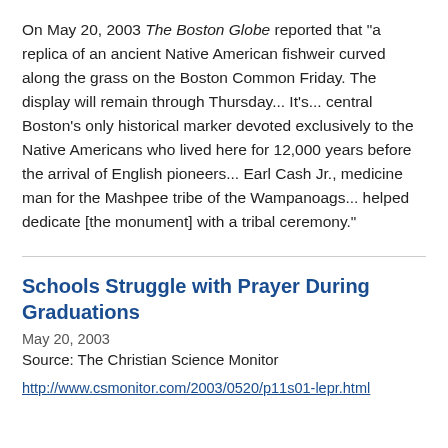On May 20, 2003 The Boston Globe reported that "a replica of an ancient Native American fishweir curved along the grass on the Boston Common Friday. The display will remain through Thursday... It's... central Boston's only historical marker devoted exclusively to the Native Americans who lived here for 12,000 years before the arrival of English pioneers... Earl Cash Jr., medicine man for the Mashpee tribe of the Wampanoags... helped dedicate [the monument] with a tribal ceremony."
Schools Struggle with Prayer During Graduations
May 20, 2003
Source: The Christian Science Monitor
http://www.csmonitor.com/2003/0520/p11s01-lepr.html